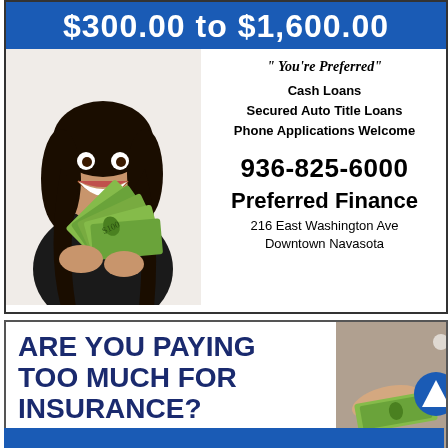$300.00 to $1,600.00
[Figure (photo): Smiling woman holding fan of cash dollar bills]
" You're Preferred"
Cash Loans
Secured Auto Title Loans
Phone Applications Welcome
936-825-6000
Preferred Finance
216 East Washington Ave
Downtown Navasota
ARE YOU PAYING TOO MUCH FOR INSURANCE?
[Figure (photo): Hand holding money with blue triangle logo overlay]